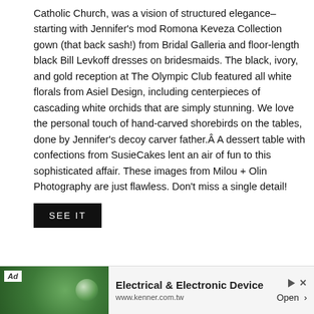Catholic Church, was a vision of structured elegance–starting with Jennifer's mod Romona Keveza Collection gown (that back sash!) from Bridal Galleria and floor-length black Bill Levkoff dresses on bridesmaids. The black, ivory, and gold reception at The Olympic Club featured all white florals from Asiel Design, including centerpieces of cascading white orchids that are simply stunning. We love the personal touch of hand-carved shorebirds on the tables, done by Jennifer's decoy carver father.Â A dessert table with confections from SusieCakes lent an air of fun to this sophisticated affair. These images from Milou + Olin Photography are just flawless. Don't miss a single detail!
SEE IT
[Figure (photo): Wedding photo of bride and groom kissing or about to kiss. The bride has dark hair up in an elegant updo with a pearl earring, wearing white. The groom is in a black tuxedo with bow tie and a white calla lily boutonniere.]
Ad  Electrical & Electronic Device  www.kenner.com.tw  Open >